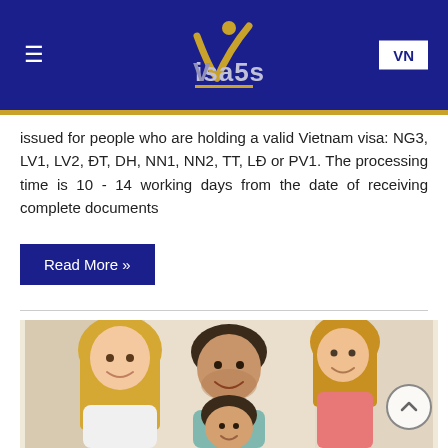[Figure (logo): Visa5s logo with gold checkmark/person icon and stylized text on dark blue background, with hamburger menu icon on left and VN button on right]
issued for people who are holding a valid Vietnam visa: NG3, LV1, LV2, ĐT, DH, NN1, NN2, TT, LĐ or PV1. The processing time is 10 - 14 working days from the date of receiving complete documents
Read More »
[Figure (photo): A smiling family of four (blonde woman, man, young girl, young boy) posing together indoors]